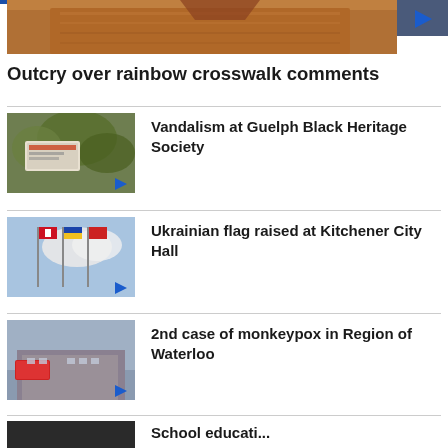[Figure (photo): Top cropped video thumbnail showing wooden podium/desk area with play button]
Outcry over rainbow crosswalk comments
[Figure (photo): Thumbnail of Guelph Black Heritage Society sign with greenery, with play button overlay]
Vandalism at Guelph Black Heritage Society
[Figure (photo): Thumbnail of flags including Canadian and Ukrainian flags raised on poles against blue sky, with play button overlay]
Ukrainian flag raised at Kitchener City Hall
[Figure (photo): Thumbnail of hospital/medical building with red Emergencies sign, with play button overlay]
2nd case of monkeypox in Region of Waterloo
[Figure (photo): Partial thumbnail of dark image (4th news item, cut off)]
School education (partial, cut off)